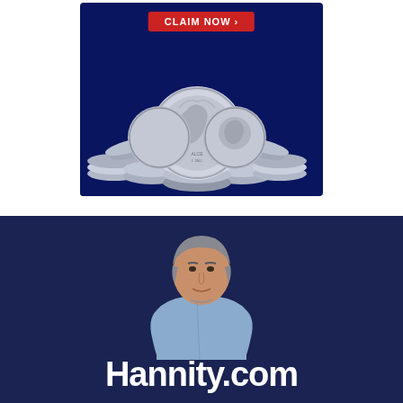[Figure (advertisement): Silver coins advertisement with 'CLAIM NOW >' button on dark blue background, showing a stack of American Silver Eagle coins]
[Figure (photo): Hannity.com website banner featuring a man in a light blue shirt against a dark navy background with 'Hannity.com' text at the bottom]